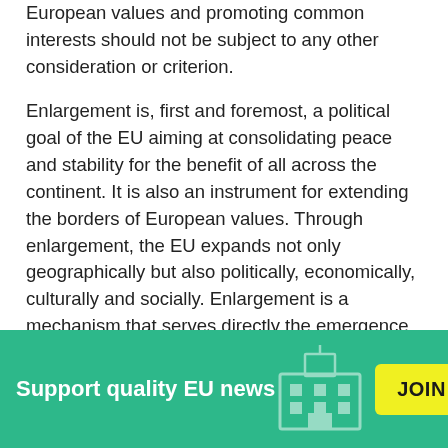European values and promoting common interests should not be subject to any other consideration or criterion.
Enlargement is, first and foremost, a political goal of the EU aiming at consolidating peace and stability for the benefit of all across the continent. It is also an instrument for extending the borders of European values. Through enlargement, the EU expands not only geographically but also politically, economically, culturally and socially. Enlargement is a mechanism that serves directly the emergence of the EU as a global power.
After 50 years devoted to both deepening and widening
[Figure (other): Green banner with 'Support quality EU news' text, a JOIN US yellow button, and a close X button. Background has a faint building/parliament icon.]